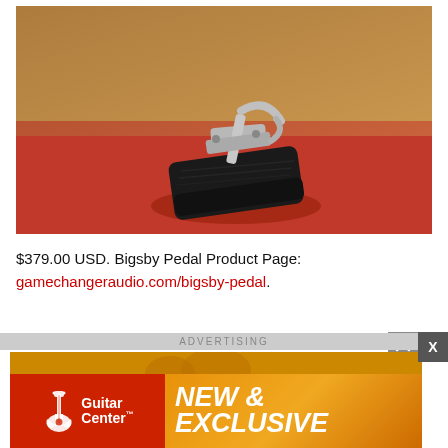[Figure (photo): Product photo of a Bigsby pedal (guitar effect pedal with chrome hardware) sitting on a red surface with a tan/brown background]
$379.00 USD. Bigsby Pedal Product Page: gamechangeraudio.com/bigsby-pedal.
ADVERTISING
[Figure (illustration): Guitar Center advertisement banner with red left panel showing Guitar Center logo with guitar icon, and orange gradient right panel with text NEW & EXCLUSIVE in white bold italic]